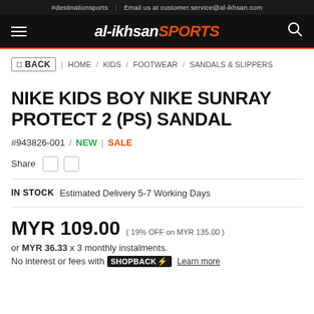#destinationsports | Email us at customer.service@al-ikhsan.com
al-ikhsan SPORTS
BACK | HOME / KIDS / FOOTWEAR / SANDALS & SLIPPERS
NIKE KIDS BOY NIKE SUNRAY PROTECT 2 (PS) SANDAL
#943826-001 / NEW | SALE
Share
IN STOCK  Estimated Delivery 5-7 Working Days
MYR 109.00 ( 19% OFF on MYR 135.00 )
or MYR 36.33 x 3 monthly instalments.
No interest or fees with SHOPBACK⚡ Learn more